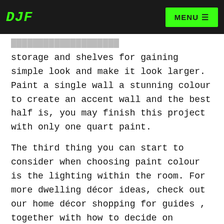DJF | MENU
...storage and shelves for gaining simple look and make it look larger. Paint a single wall a stunning colour to create an accent wall and the best half is, you may finish this project with only one quart paint.
The third thing you can start to consider when choosing paint colour is the lighting within the room. For more dwelling décor ideas, check out our home décor shopping for guides , together with how to decide on wallpaper and lighting. Add loads of lighting to perk up a darkish or dreary area.